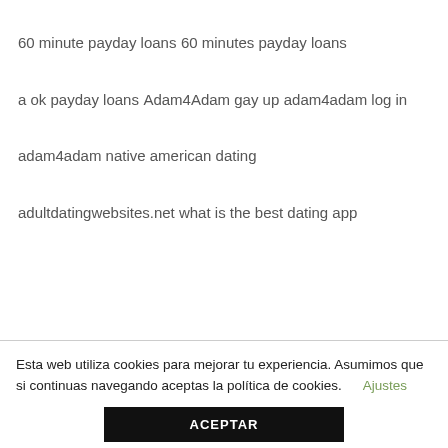60 minute payday loans
60 minutes payday loans
a ok payday loans
Adam4Adam gay up
adam4adam log in
adam4adam native american dating
adultdatingwebsites.net what is the best dating app
Esta web utiliza cookies para mejorar tu experiencia. Asumimos que si continuas navegando aceptas la política de cookies.  Ajustes
ACEPTAR